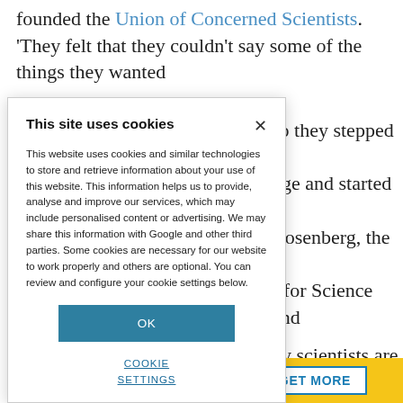founded the Union of Concerned Scientists. 'They felt that they couldn't say some of the things they wanted
so they stepped ... dge and started ... Rosenberg, the ... r for Science and
ny scientists are ... are living in ... Donald Trump in ... change ... up on issues that ... d society at large.
[Figure (screenshot): Cookie consent modal dialog with title 'This site uses cookies', body text about cookies and privacy, an OK button, and a COOKIE SETTINGS link]
[Figure (screenshot): GET MORE button on yellow background at bottom right corner]